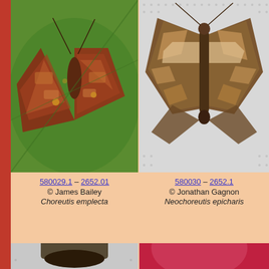[Figure (photo): Close-up photo of Choreutis emplecta moth on a green leaf, showing reddish-brown mottled wings]
[Figure (photo): Close-up photo of Neochoreutis epicharis moth on white fabric background, showing brown and tan patterned wings spread]
580029.1 – 2652.01
© James Bailey
Choreutis emplecta
580030 – 2652.1
© Jonathan Gagnon
Neochoreutis epicharis
[Figure (photo): Partial photo of a dark brown moth with tent-like wing posture on white fabric background]
[Figure (photo): Close-up partial photo of a metallic iridescent beetle with purple, blue, orange and green coloring on red background]